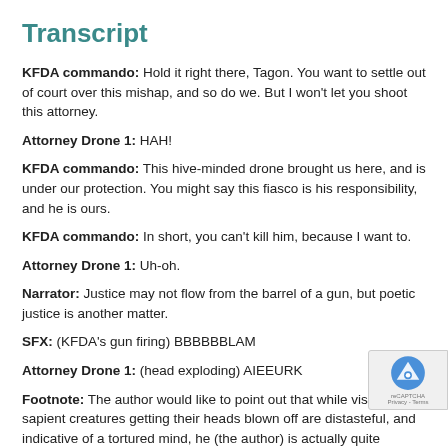Transcript
KFDA commando: Hold it right there, Tagon. You want to settle out of court over this mishap, and so do we. But I won't let you shoot this attorney.
Attorney Drone 1: HAH!
KFDA commando: This hive-minded drone brought us here, and is under our protection. You might say this fiasco is his responsibility, and he is ours.
KFDA commando: In short, you can't kill him, because I want to.
Attorney Drone 1: Uh-oh.
Narrator: Justice may not flow from the barrel of a gun, but poetic justice is another matter.
SFX: (KFDA's gun firing) BBBBBBLAM
Attorney Drone 1: (head exploding) AIEEURK
Footnote: The author would like to point out that while visions of sapient creatures getting their heads blown off are distasteful, and indicative of a tortured mind, he (the author) is actually quite discreet by nature, and is very, very sane. It's just that this strip was drawn and colored a mere 24 hours